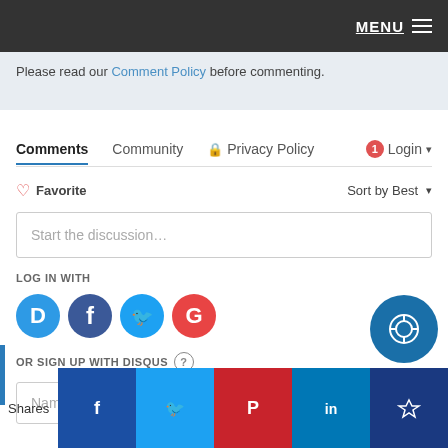MENU
Please read our Comment Policy before commenting.
Comments  Community  Privacy Policy  Login
Favorite  Sort by Best
Start the discussion…
LOG IN WITH
[Figure (logo): Social login icons: Disqus (blue), Facebook (dark blue), Twitter (light blue), Google (red)]
OR SIGN UP WITH DISQUS ?
Name
Shares
[Figure (infographic): Social share buttons: Facebook, Twitter, Pinterest, LinkedIn, Crown/other]